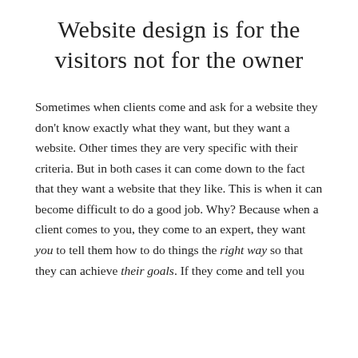Website design is for the visitors not for the owner
Sometimes when clients come and ask for a website they don't know exactly what they want, but they want a website. Other times they are very specific with their criteria. But in both cases it can come down to the fact that they want a website that they like. This is when it can become difficult to do a good job. Why? Because when a client comes to you, they come to an expert, they want you to tell them how to do things the right way so that they can achieve their goals. If they come and tell you